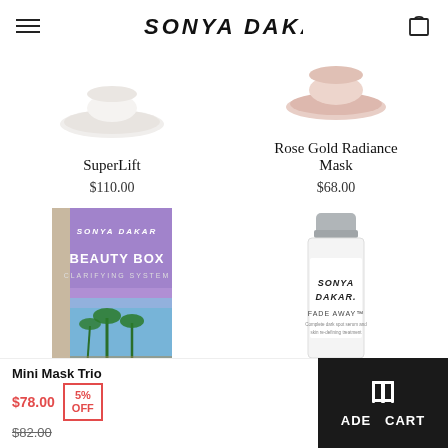SONYA DAKAR
SuperLift
$110.00
Rose Gold Radiance Mask
$68.00
[Figure (photo): Sonya Dakar Beauty Box Clarifying System product packaging with purple design and palm trees]
[Figure (photo): Sonya Dakar Fade Away product bottle with silver cap]
Mini Mask Trio
$78.00
$82.00
5% OFF
ADD TO CART